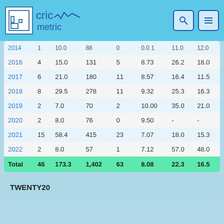cricmetric
| Year |  | Overs | Runs | Wkts | Econ | Best | Avg |
| --- | --- | --- | --- | --- | --- | --- | --- |
| 2014 | 1 | 10.0 | 88 | 0 | 0.01 | 11.0 | 12.0 |
| 2016 | 4 | 15.0 | 131 | 5 | 8.73 | 26.2 | 18.0 |
| 2017 | 6 | 21.0 | 180 | 11 | 8.57 | 16.4 | 11.5 |
| 2018 | 8 | 29.5 | 278 | 11 | 9.32 | 25.3 | 16.3 |
| 2019 | 2 | 7.0 | 70 | 2 | 10.00 | 35.0 | 21.0 |
| 2020 | 2 | 8.0 | 76 | 0 | 9.50 | - | - |
| 2021 | 15 | 58.4 | 415 | 23 | 7.07 | 18.0 | 15.3 |
| 2022 | 2 | 8.0 | 57 | 1 | 7.12 | 57.0 | 48.0 |
| Total | 46 | 173.3 | 1,402 | 63 | 8.08 | 22.3 | 16.5 |
TWENTY20